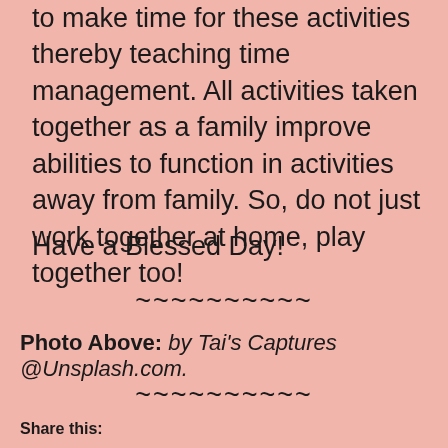to make time for these activities thereby teaching time management. All activities taken together as a family improve abilities to function in activities away from family. So, do not just work together at home, play together too!
Have a Blessed Day!
~~~~~~~~~~
Photo Above: by Tai's Captures @Unsplash.com.
~~~~~~~~~~
Share this: